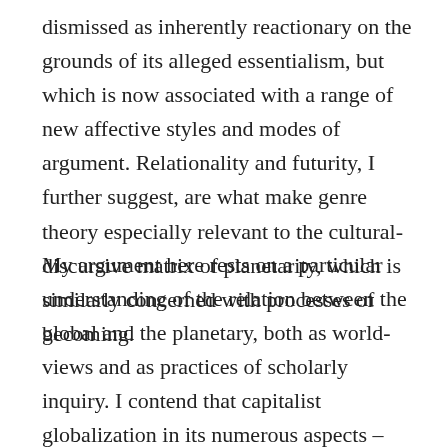dismissed as inherently reactionary on the grounds of its alleged essentialism, but which is now associated with a range of new affective styles and modes of argument. Relationality and futurity, I further suggest, are what make genre theory especially relevant to the cultural-discursive matrix of planetarity, which is similarly concerned with processes of becoming.
My argument here rests on a particular understanding of the relation between the global and the planetary, both as world-views and as practices of scholarly inquiry. I contend that capitalist globalization in its numerous aspects – economic, financial, political, technological, cultural and environmental – has created new, transnational chains of social and political